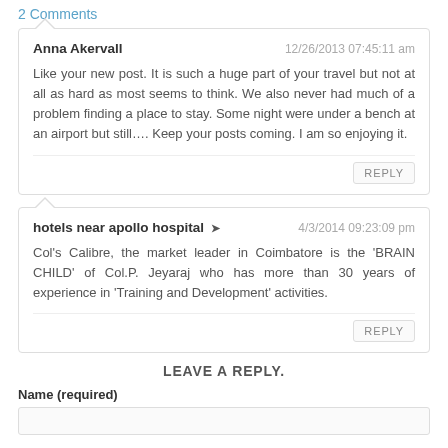2 Comments
Anna Akervall — 12/26/2013 07:45:11 am — Like your new post. It is such a huge part of your travel but not at all as hard as most seems to think. We also never had much of a problem finding a place to stay. Some night were under a bench at an airport but still.... Keep your posts coming. I am so enjoying it.
REPLY
hotels near apollo hospital ➜ — 4/3/2014 09:23:09 pm — Col's Calibre, the market leader in Coimbatore is the 'BRAIN CHILD' of Col.P. Jeyaraj who has more than 30 years of experience in 'Training and Development' activities.
REPLY
LEAVE A REPLY.
Name (required)